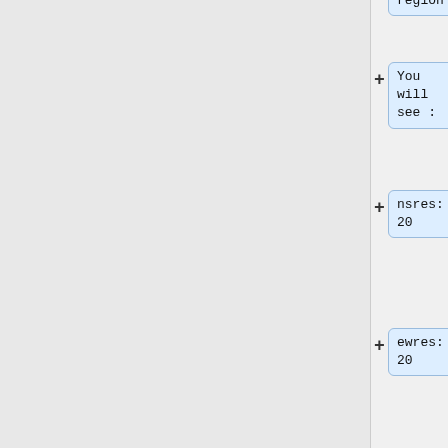region
You will
see :
nsres:
20
ewres:
20
The Region
resolution
setting is
now for
20ft cells.
* Go back
to the
r.in.lidar